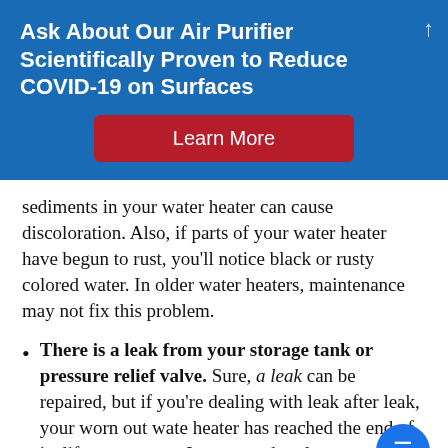Ask About Our Air Purifier Scientifically Proven to Reduce COVID-19 on Surfaces
Learn More
sediments in your water heater can cause discoloration. Also, if parts of your water heater have begun to rust, you'll notice black or rusty colored water. In older water heaters, maintenance may not fix this problem.
There is a leak from your storage tank or pressure relief valve. Sure, a leak can be repaired, but if you're dealing with leak after leak, your worn out water heater has reached the end of its life expectancy. It may need replacement.